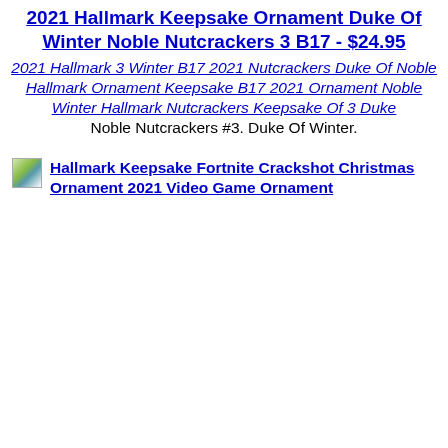2021 Hallmark Keepsake Ornament Duke Of Winter Noble Nutcrackers 3 B17 - $24.95
2021 Hallmark 3 Winter B17 2021 Nutcrackers Duke Of Noble Hallmark Ornament Keepsake B17 2021 Ornament Noble Winter Hallmark Nutcrackers Keepsake Of 3 Duke Noble Nutcrackers #3. Duke Of Winter.
[Figure (other): Small thumbnail image placeholder (broken image icon) followed by a product link for Hallmark Keepsake Fortnite Crackshot Christmas Ornament 2021 Video Game Ornament]